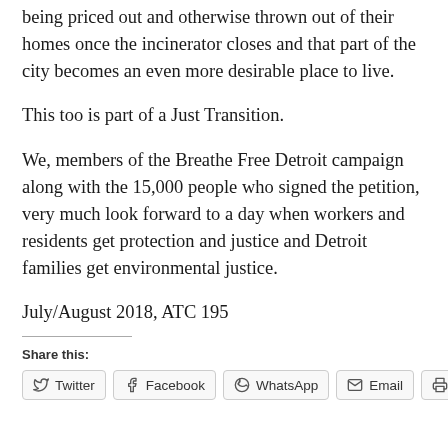being priced out and otherwise thrown out of their homes once the incinerator closes and that part of the city becomes an even more desirable place to live.
This too is part of a Just Transition.
We, members of the Breathe Free Detroit campaign along with the 15,000 people who signed the petition, very much look forward to a day when workers and residents get protection and justice and Detroit families get environmental justice.
July/August 2018, ATC 195
Share this:
Twitter Facebook WhatsApp Email Print